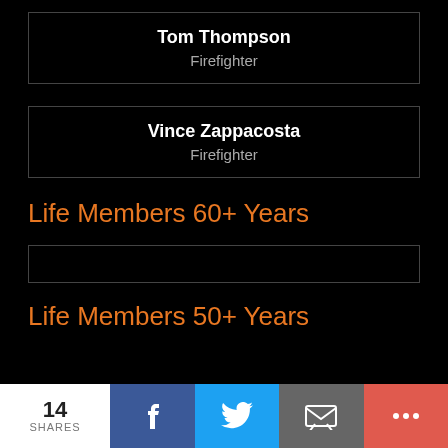Tom Thompson — Firefighter
Vince Zappacosta — Firefighter
Life Members 60+ Years
Life Members 50+ Years
14 SHARES | Facebook | Twitter | Email | More